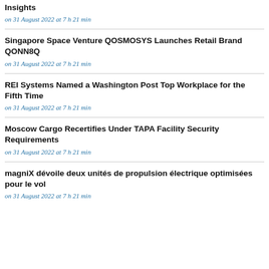Insights
on 31 August 2022 at 7 h 21 min
Singapore Space Venture QOSMOSYS Launches Retail Brand QONN8Q
on 31 August 2022 at 7 h 21 min
REI Systems Named a Washington Post Top Workplace for the Fifth Time
on 31 August 2022 at 7 h 21 min
Moscow Cargo Recertifies Under TAPA Facility Security Requirements
on 31 August 2022 at 7 h 21 min
magniX dévoile deux unités de propulsion électrique optimisées pour le vol
on 31 August 2022 at 7 h 21 min